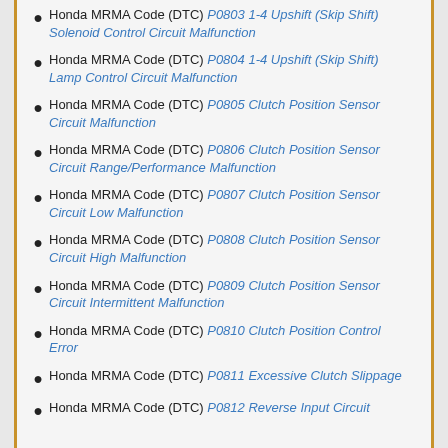Honda MRMA Code (DTC) P0803 1-4 Upshift (Skip Shift) Solenoid Control Circuit Malfunction
Honda MRMA Code (DTC) P0804 1-4 Upshift (Skip Shift) Lamp Control Circuit Malfunction
Honda MRMA Code (DTC) P0805 Clutch Position Sensor Circuit Malfunction
Honda MRMA Code (DTC) P0806 Clutch Position Sensor Circuit Range/Performance Malfunction
Honda MRMA Code (DTC) P0807 Clutch Position Sensor Circuit Low Malfunction
Honda MRMA Code (DTC) P0808 Clutch Position Sensor Circuit High Malfunction
Honda MRMA Code (DTC) P0809 Clutch Position Sensor Circuit Intermittent Malfunction
Honda MRMA Code (DTC) P0810 Clutch Position Control Error
Honda MRMA Code (DTC) P0811 Excessive Clutch Slippage
Honda MRMA Code (DTC) P0812 Reverse Input Circuit